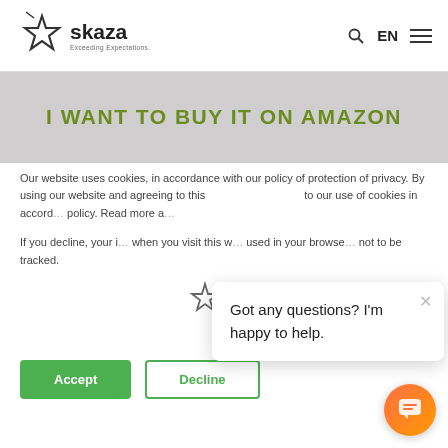[Figure (logo): Skaza logo with star icon and tagline 'Exceeding Expectations.']
I WANT TO BUY IT ON AMAZON
Our website uses cookies, in accordance with our policy of protection of privacy. By using our website and agreeing to this policy, you consent to our use of cookies in accord... Read more a...
If you decline, your i... when you visit this w... used in your browse... not to be tracked.
[Figure (screenshot): Chat popup overlay saying 'Got any questions? I'm happy to help.' with a close X button]
[Figure (other): Orange/coral gradient chat button at bottom right]